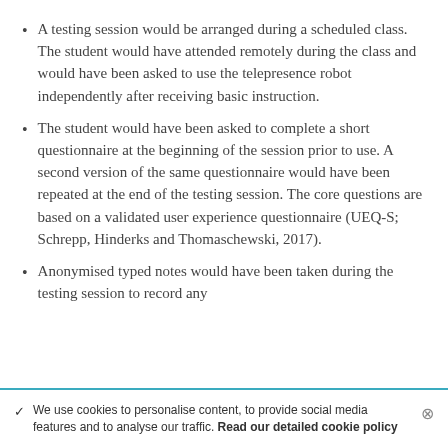A testing session would be arranged during a scheduled class. The student would have attended remotely during the class and would have been asked to use the telepresence robot independently after receiving basic instruction.
The student would have been asked to complete a short questionnaire at the beginning of the session prior to use. A second version of the same questionnaire would have been repeated at the end of the testing session. The core questions are based on a validated user experience questionnaire (UEQ-S; Schrepp, Hinderks and Thomaschewski, 2017).
Anonymised typed notes would have been taken during the testing session to record any
✓ We use cookies to personalise content, to provide social media features and to analyse our traffic. Read our detailed cookie policy